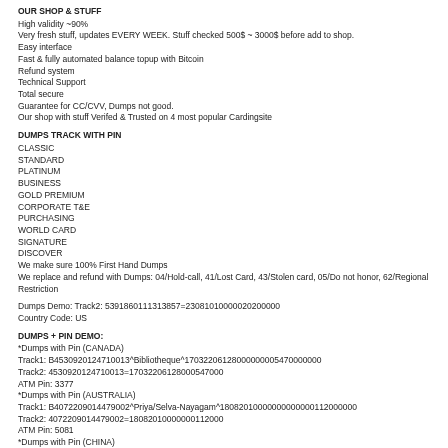OUR SHOP & STUFF
High validity ~90%
Very fresh stuff, updates EVERY WEEK. Stuff checked 500$ ~ 3000$ before add to shop.
Easy interface
Fast & fully automated balance topup with Bitcoin
Refund system
Technical Support
Total secure
Guarantee for CC/CVV, Dumps not good.
Our shop with stuff Verifed & Trusted on 4 most popular Cardingsite
DUMPS TRACK WITH PIN
CLASSIC
STANDARD
PLATINUM
BUSINESS
GOLD PREMIUM
CORPORATE T&E
PURCHASING
WORLD CARD
SIGNATURE
DISCOVER
We make sure 100% First Hand Dumps
We replace and refund with Dumps: 04/Hold-call, 41/Lost Card, 43/Stolen card, 05/Do not honor, 62/Regional Restriction
Dumps Demo: Track2: 5391860111313857=23081010000020200000
Country Code: US
DUMPS + PIN DEMO:
*Dumps with Pin (CANADA)
Track1: B4530920124710013^Bibliotheque^17032206128000000005470000000
Track2: 4530920124710013=17032206128000547000
ATM Pin: 3377
*Dumps with Pin (AUSTRALIA)
Track1: B4072209014479002^Priya/Selva-Nayagam^18082010000000000000112000000
Track2: 4072209014479002=18082010000000112000
ATM Pin: 5081
*Dumps with Pin (CHINA)
Track1: B4067770173155710%/Wai-Chun/Chang^18011914045400000998000000